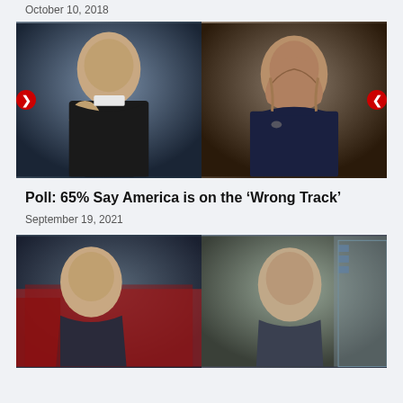October 10, 2018
[Figure (photo): Side-by-side photo of Joe Biden (left, in black tuxedo, gesturing with hand) and Kamala Harris (right, in navy blazer, wearing pearl necklace). Navigation arrows visible on left and right sides.]
Poll: 65% Say America is on the ‘Wrong Track’
September 19, 2021
[Figure (photo): Side-by-side screenshot of two men: left side shows a dark-haired man in front of an American flag, right side shows a lighter-haired man in front of bookshelves.]